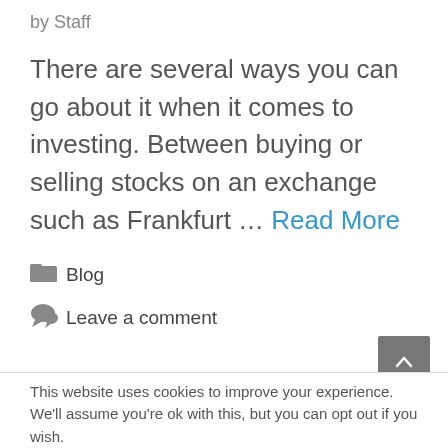by Staff
There are several ways you can go about it when it comes to investing. Between buying or selling stocks on an exchange such as Frankfurt … Read More
Blog
Leave a comment
This website uses cookies to improve your experience. We'll assume you're ok with this, but you can opt out if you wish.